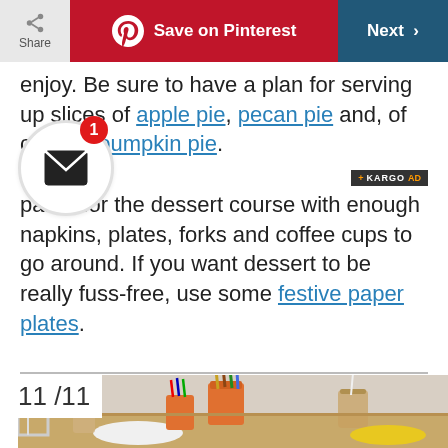Share | Save on Pinterest | Next >
enjoy. Be sure to have a plan for serving up slices of apple pie, pecan pie and, of course, pumpkin pie. ...pared for the dessert course with enough napkins, plates, forks and coffee cups to go around. If you want dessert to be really fuss-free, use some festive paper plates.
[Figure (photo): Table setting with art supplies, orange tin cans with pencils and crayons, jars with drinks, plates, on a wooden table. Slide 11 of 11.]